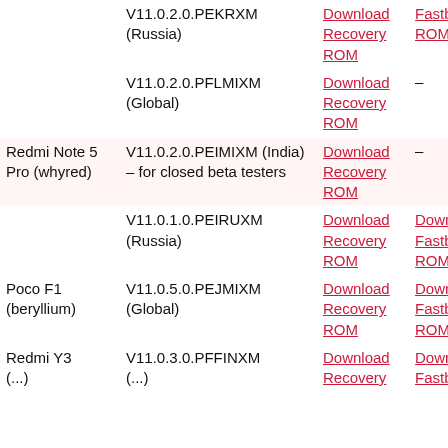| Device | Version | Download Recovery ROM | Download Fastboot ROM |
| --- | --- | --- | --- |
|  | V11.0.2.0.PEKRXM (Russia) | Download Recovery ROM | Fastboot ROM |
|  | V11.0.2.0.PFLMIXM (Global) | Download Recovery ROM | - |
| Redmi Note 5 Pro (whyred) | V11.0.2.0.PEIMIXM (India) – for closed beta testers | Download Recovery ROM | - |
|  | V11.0.1.0.PEIRUXM (Russia) | Download Recovery ROM | Download Fastboot ROM |
| Poco F1 (beryllium) | V11.0.5.0.PEJMIXM (Global) | Download Recovery ROM | Download Fastboot ROM |
| Redmi Y3 (...) | V11.0.3.0.PFFINXM (...) | Download Recovery ROM | Download Fastboot ROM |